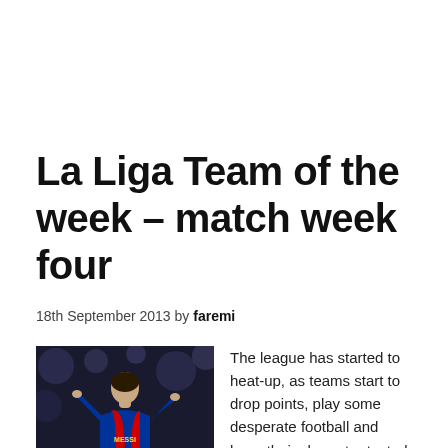La Liga Team of the week – match week four
18th September 2013 by faremi
[Figure (photo): A footballer wearing a Messi jersey with number 30, viewed from behind, celebrating with arms raised, crowd in the background.]
The league has started to heat-up, as teams start to drop points, play some desperate football and have their character tested. Atletico